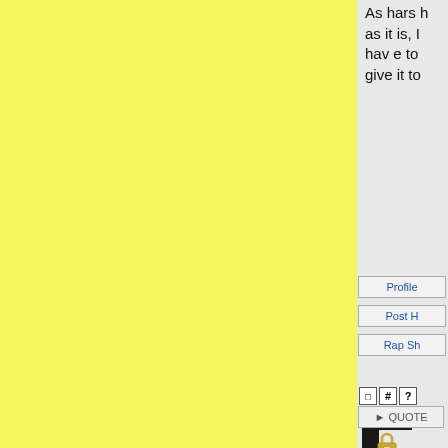[Figure (screenshot): Yellow textured panel on the left side of the page, approximately 355px wide.]
As harsh as it is, I have to give it to
[Figure (logo): Black logo/icon partially visible on the right panel.]
Profile
Post H
Rap Sh
Jul 14, 2014 22:37
QUOTE
[Figure (illustration): Lock icon at the bottom right.]